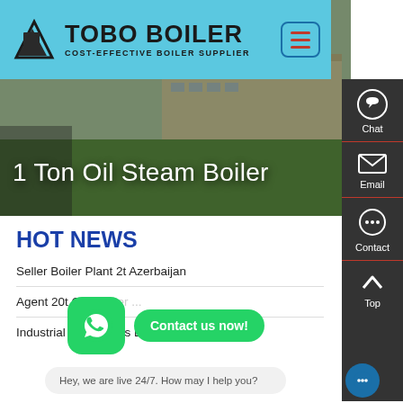[Figure (logo): Tobo Boiler logo with light blue background, dark icon and text reading TOBO BOILER, COST-EFFECTIVE BOILER SUPPLIER, with menu hamburger button]
[Figure (photo): Aerial photo of industrial factory/boiler plant with large green field, buildings, parking lot. Overlaid title text: 1 Ton Oil Steam Boiler]
1 Ton Oil Steam Boiler
HOT NEWS
Seller Boiler Plant 2t Azerbaijan
Agent 20t Gas Boiler ...
Industrial 20 Ton Gas Boiler Tajikistan
Hey, we are live 24/7. How may I help you?